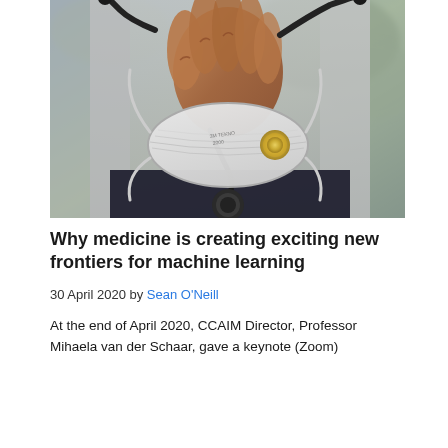[Figure (photo): Close-up photograph of a person's hand holding a stethoscope and an N95/FFP2 face mask with a yellow exhalation valve. The person is wearing a white coat or lab coat. The background is blurred outdoors.]
Why medicine is creating exciting new frontiers for machine learning
30 April 2020 by Sean O'Neill
At the end of April 2020, CCAIM Director, Professor Mihaela van der Schaar, gave a keynote (Zoom)